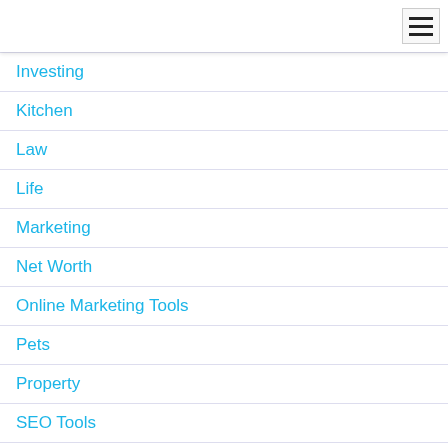Navigation menu
Investing
Kitchen
Law
Life
Marketing
Net Worth
Online Marketing Tools
Pets
Property
SEO Tools